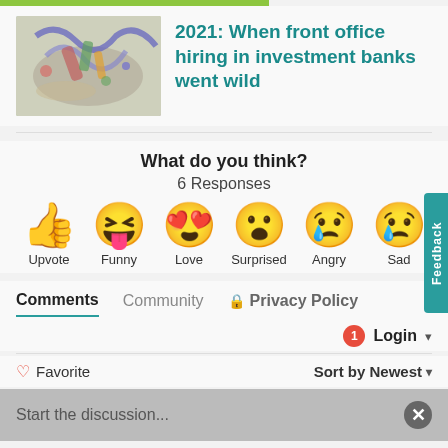[Figure (photo): Colorful confetti and streamers on a surface]
2021: When front office hiring in investment banks went wild
What do you think?
6 Responses
Upvote  Funny  Love  Surprised  Angry  Sad
Comments  Community  Privacy Policy
Login
Favorite  Sort by Newest
Start the discussion...